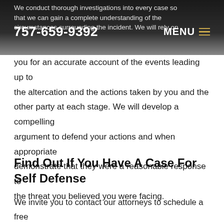757-659-9392   MENU
We conduct thorough investigations into every case so that we can gain a complete understanding of the circumstances surrounding the incident. We will rely on you for an accurate account of the events leading up to the altercation and the actions taken by you and the other party at each stage. We will develop a compelling argument to defend your actions and when appropriate demonstrate that they were a reasonable response to the threat you believed you were facing.
Find Out If You Have A Case For Self Defense
We invite you to contact our attorneys to schedule a free confidential consultation. Call 757-659-9392 in Newport